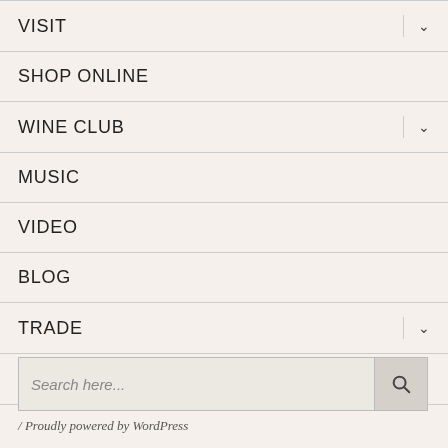VISIT
SHOP ONLINE
WINE CLUB
MUSIC
VIDEO
BLOG
TRADE
ABOUT
Search here...
/ Proudly powered by WordPress